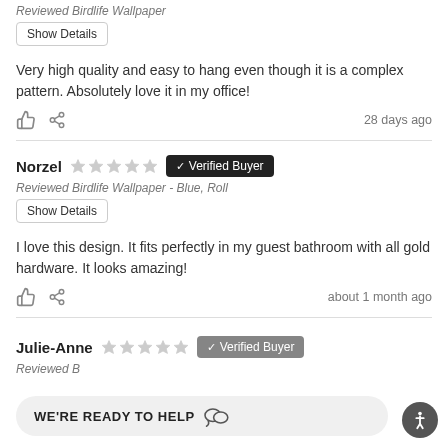Reviewed Birdlife Wallpaper
Show Details
Very high quality and easy to hang even though it is a complex pattern. Absolutely love it in my office!
28 days ago
Norzel ★★★★★ ✓ Verified Buyer
Reviewed Birdlife Wallpaper - Blue, Roll
Show Details
I love this design. It fits perfectly in my guest bathroom with all gold hardware. It looks amazing!
about 1 month ago
Julie-Anne ✓ Verified Buyer
Reviewed B
WE'RE READY TO HELP